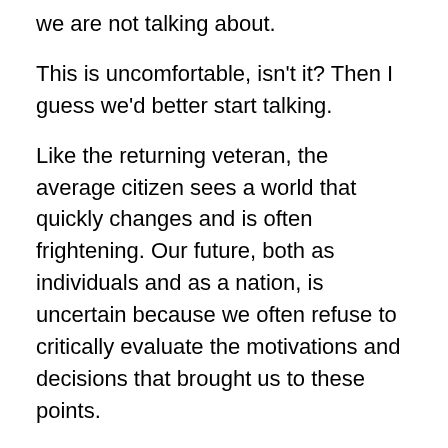we are not talking about.
This is uncomfortable, isn't it? Then I guess we'd better start talking.
Like the returning veteran, the average citizen sees a world that quickly changes and is often frightening. Our future, both as individuals and as a nation, is uncertain because we often refuse to critically evaluate the motivations and decisions that brought us to these points.
What are the merits of staying in the military? What are the merits of transitioning out? What are the merits of staying in Afghanistan? What are the merits of leaving? What are the consequences of our decisions, of our inaction, of our over-reactions? Why have our military and social strategies brought us to these points? Why have we